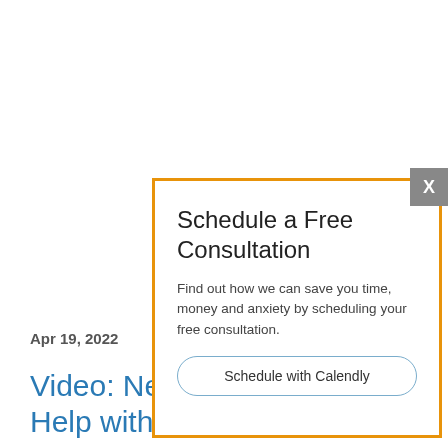Apr 19, 2022
Video: Ne… Help with…
Schedule a Free Consultation
Find out how we can save you time, money and anxiety by scheduling your free consultation.
Schedule with Calendly